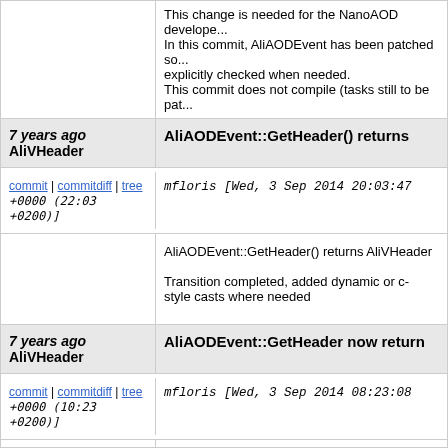This change is needed for the NanoAOD develope... In this commit, AliAODEvent has been patched so... explicitly checked when needed. This commit does not compile (tasks still to be pat...
7 years ago AliVHeader | AliAODEvent::GetHeader() returns
commit | commitdiff | tree mfloris [Wed, 3 Sep 2014 20:03:47 +0000 (22:03 +0200)]
AliAODEvent::GetHeader() returns AliVHeader

Transition completed, added dynamic or c-style casts where needed
7 years ago AliVHeader | AliAODEvent::GetHeader now return
commit | commitdiff | tree mfloris [Wed, 3 Sep 2014 08:23:08 +0000 (10:23 +0200)]
AliAODEvent::GetHeader now return AliVHeader

This required patching the base classes in a few p... some of the NanoAOD to STEER/AOD and check... contained in the AODEvent class in a few places. compile (analysis tasks which use AliAODEvent::G...